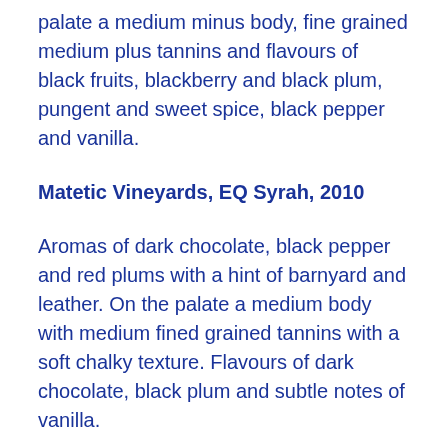palate a medium minus body, fine grained medium plus tannins and flavours of black fruits, blackberry and black plum, pungent and sweet spice, black pepper and vanilla.
Matetic Vineyards, EQ Syrah, 2010
Aromas of dark chocolate, black pepper and red plums with a hint of barnyard and leather. On the palate a medium body with medium fined grained tannins with a soft chalky texture. Flavours of dark chocolate, black plum and subtle notes of vanilla.
Matetic Vineyards, Matetic Syrah, 2009
Aromas of red fruits, raspberry leaf, ground black pepper as well as fresh peppercorns with notes of cedar. On the palate a medium to fine tannins with flavours of black...